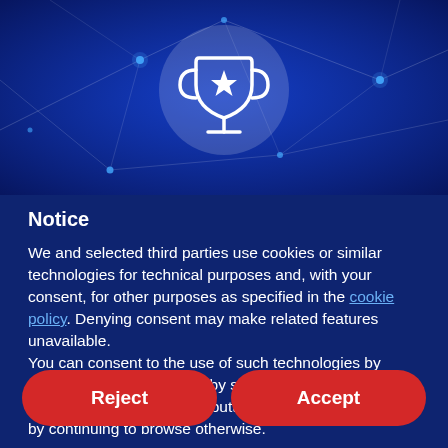[Figure (illustration): Dark blue header with network/constellation lines and glowing nodes. A semi-transparent circular badge in the center contains a white trophy icon with a star on it.]
Notice
We and selected third parties use cookies or similar technologies for technical purposes and, with your consent, for other purposes as specified in the cookie policy. Denying consent may make related features unavailable.
You can consent to the use of such technologies by using the "Accept" button, by scrolling this page, by interacting with any link or button outside of this notice or by continuing to browse otherwise.
Reject
Accept